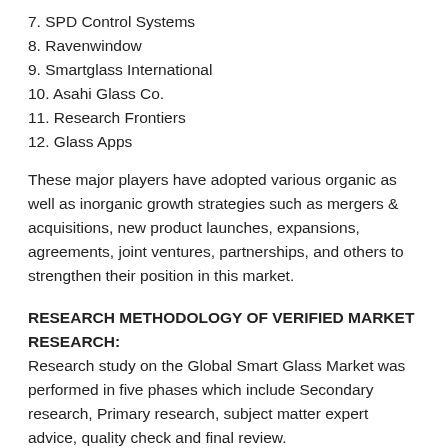7. SPD Control Systems
8. Ravenwindow
9. Smartglass International
10. Asahi Glass Co.
11. Research Frontiers
12. Glass Apps
These major players have adopted various organic as well as inorganic growth strategies such as mergers & acquisitions, new product launches, expansions, agreements, joint ventures, partnerships, and others to strengthen their position in this market.
RESEARCH METHODOLOGY OF VERIFIED MARKET RESEARCH:
Research study on the Global Smart Glass Market was performed in five phases which include Secondary research, Primary research, subject matter expert advice, quality check and final review.
The market data was analyzed and forecasted using market statistical and coherent models. Also market shares and key trends were taken into consideration while making the report.